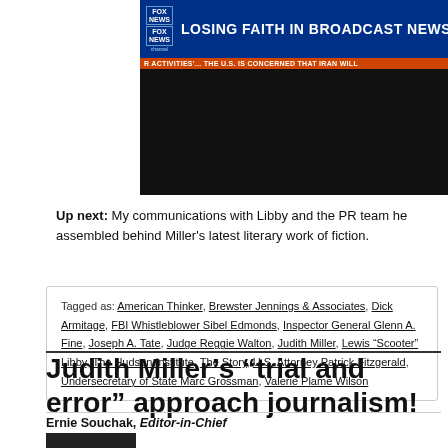[Figure (screenshot): Fox News broadcast screenshot showing text 'LOSING FAITH IN BROADCAST NEWS' in header and ticker 'R ACTIVITIES'... THE U.S. IS CONCERNED THAT IRAN WILL' on orange bar, with black video area below]
Up next: My communications with Libby and the PR team he assembled behind Miller's latest literary work of fiction.
Tagged as: American Thinker, Brewster Jennings & Associates, Dick Armitage, FBI Whistleblower Sibel Edmonds, Inspector General Glenn A. Fine, Joseph A. Tate, Judge Reggie Walton, Judith Miller, Lewis "Scooter" Libby, The Hudson Institute, The Story, U.S. Attorney Patrick Fitzgerald, Undersecretary of State Marc Grossman, Valerie Plame Wilson
Judith Miller’s “trial and error” approach journalism!
Ernie Souchak, Editor-in-Chief